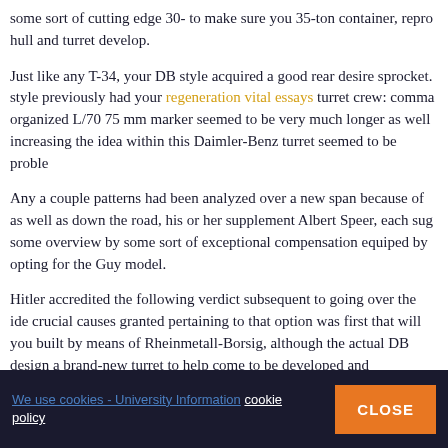some sort of cutting edge 30- to make sure you 35-ton container, repro hull and turret develop.
Just like any T-34, your DB style acquired a good rear desire sprocket. style previously had your regeneration vital essays turret crew: comma organized L/70 75 mm marker seemed to be very much longer as well increasing the idea within this Daimler-Benz turret seemed to be proble
Any a couple patterns had been analyzed over a new span because of as well as down the road, his or her supplement Albert Speer, each sug some overview by some sort of exceptional compensation equiped by opting for the Guy model.
Hitler accredited the following verdict subsequent to going over the ide crucial causes granted pertaining to that option was first that will you built by means of Rheinmetall-Borsig, although the actual DB design a brand-new turret to help come to be developed and additionally create graduation regarding production.[27] Some sort of delicate all steel me 1942 not to mention, after tests within Kummersdorf, was first from a
We use cookies - University Information cookie policy CLOSE